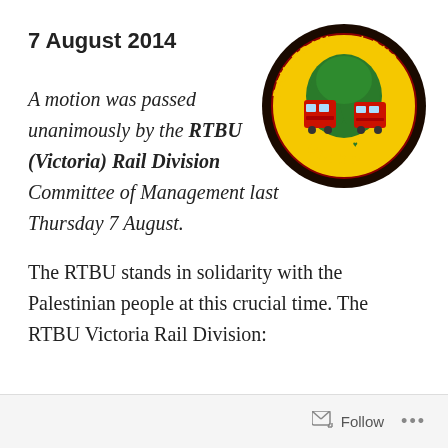7 August 2014
[Figure (logo): RTBU Rail Tram and Bus Union circular logo with yellow background, red tram/bus vehicles, green tree, black outer ring with text 'RAIL TRAM and BUS UNION']
A motion was passed unanimously by the RTBU (Victoria) Rail Division Committee of Management last Thursday 7 August.
The RTBU stands in solidarity with the Palestinian people at this crucial time. The RTBU Victoria Rail Division:
Follow ...